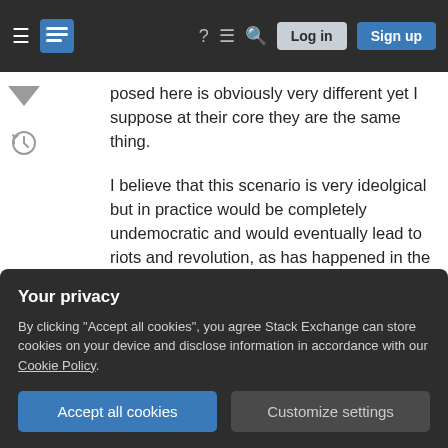Stack Exchange navigation header with hamburger menu, logo, help, chat, search icons, Log in and Sign up buttons
posed here is obviously very different yet I suppose at their core they are the same thing.
I believe that this scenario is very ideolgical but in practice would be completely undemocratic and would eventually lead to riots and revolution, as has happened in the past in various countries around the world. If you have a country full of halfwits and only 5% of them have any intelligence as per a test, who should be represented in their government? Surely it's everybody, rather than just the 5%? If you want to weigh an intelligent persons vote in order to
Your privacy
By clicking "Accept all cookies", you agree Stack Exchange can store cookies on your device and disclose information in accordance with our Cookie Policy.
Accept all cookies   Customize settings
voting out of their own self-interests, the masses wouldn't have any representation in the government